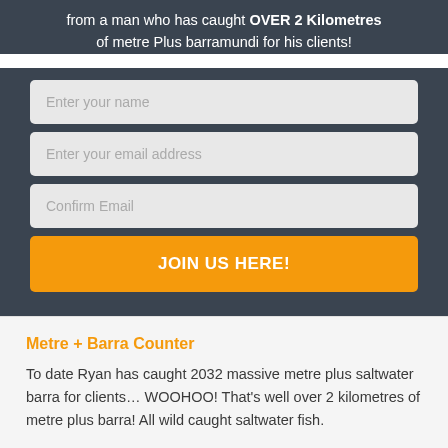from a man who has caught OVER 2 Kilometres of metre Plus barramundi for his clients!
[Figure (other): Web form with three input fields (Enter your name, Enter your email address, Confirm Email) and an orange JOIN US HERE! button, on a dark background]
Metre + Barra Counter
To date Ryan has caught 2032 massive metre plus saltwater barra for clients… WOOHOO! That's well over 2 kilometres of metre plus barra! All wild caught saltwater fish.